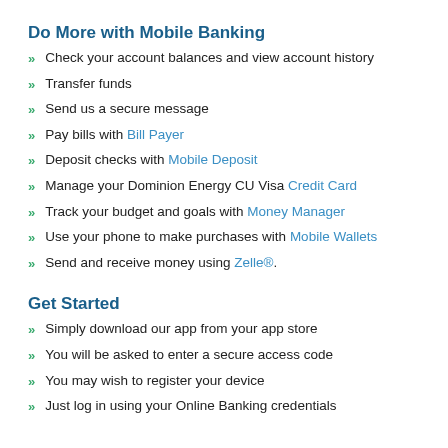Do More with Mobile Banking
Check your account balances and view account history
Transfer funds
Send us a secure message
Pay bills with Bill Payer
Deposit checks with Mobile Deposit
Manage your Dominion Energy CU Visa Credit Card
Track your budget and goals with Money Manager
Use your phone to make purchases with Mobile Wallets
Send and receive money using Zelle®.
Get Started
Simply download our app from your app store
You will be asked to enter a secure access code
You may wish to register your device
Just log in using your Online Banking credentials